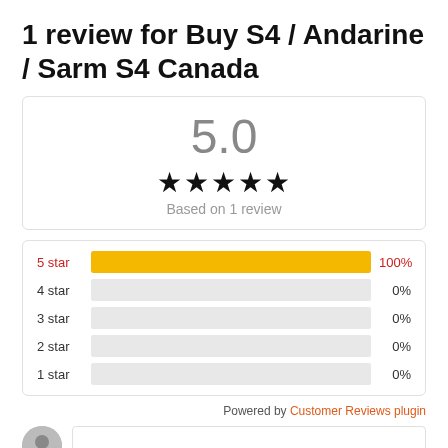1 review for Buy S4 / Andarine / Sarm S4 Canada
[Figure (infographic): Rating summary box showing 5.0 out of 5 stars with 5 filled stars and text 'Based on 1 review']
[Figure (bar-chart): Star rating distribution]
Powered by Customer Reviews plugin